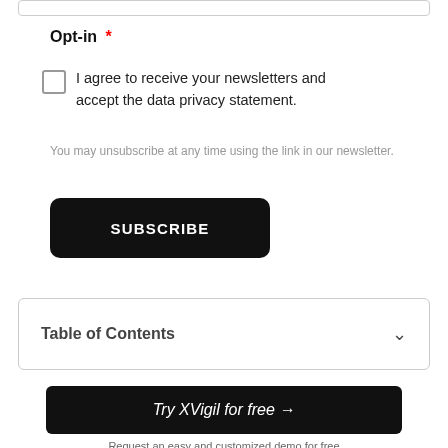Opt-in *
I agree to receive your newsletters and accept the data privacy statement.
You may unsubscribe at any time using the link in our newsletter.
SUBSCRIBE
Table of Contents
Try XVigil for free →
Request an easy and customized demo for free